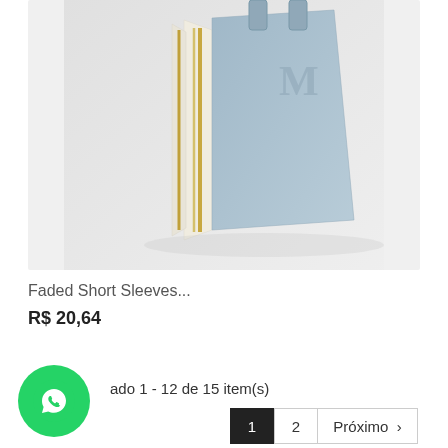[Figure (photo): A light blue and cream/white structured handbag with gold zipper detail and handle straps, photographed against a light gray/white background.]
Faded Short Sleeves...
R$ 20,64
ado 1 - 12 de 15 item(s)
[Figure (logo): WhatsApp green circle button icon]
1 2 Próximo >